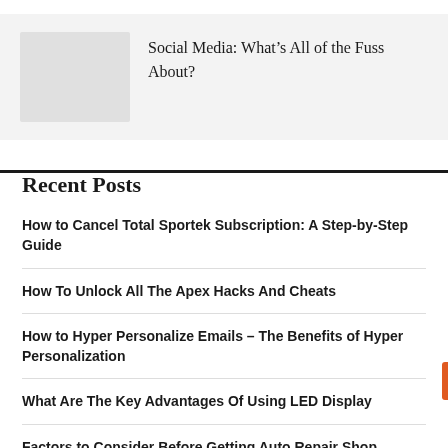[Figure (photo): Light gray placeholder thumbnail image]
Social Media: What's All of the Fuss About?
Recent Posts
How to Cancel Total Sportek Subscription: A Step-by-Step Guide
How To Unlock All The Apex Hacks And Cheats
How to Hyper Personalize Emails – The Benefits of Hyper Personalization
What Are The Key Advantages Of Using LED Display
Factors to Consider Before Getting Auto Repair Shop